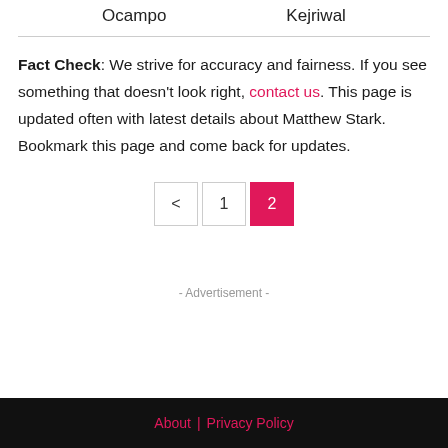Ocampo    Kejriwal
Fact Check: We strive for accuracy and fairness. If you see something that doesn't look right, contact us. This page is updated often with latest details about Matthew Stark. Bookmark this page and come back for updates.
< 1 2
- Advertisement -
About | Privacy Policy